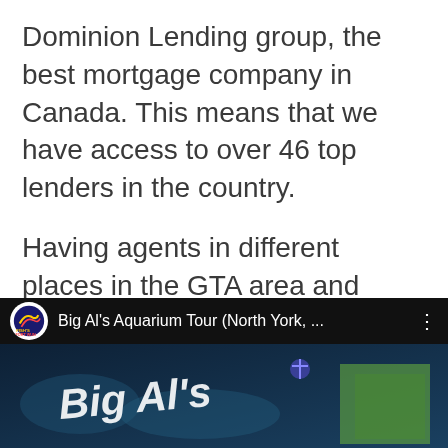Dominion Lending group, the best mortgage company in Canada. This means that we have access to over 46 top lenders in the country.
Having agents in different places in the GTA area and Ontario means that we have you covered with a great mortgage deal no matter where in the GTA or Ontario you live.
[Figure (screenshot): YouTube video thumbnail showing 'Big Al's Aquarium Tour (North York, ...' with a channel logo on the left and a three-dot menu on the right. The preview shows partial underwater aquarium imagery with stylized text.]